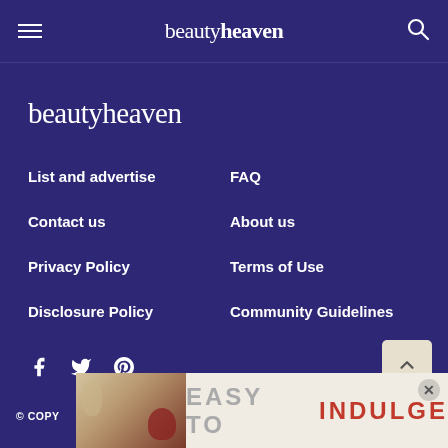beautyheaven
beautyheaven
List and advertise
FAQ
Contact us
About us
Privacy Policy
Terms of Use
Disclosure Policy
Community Guidelines
[Figure (other): Social media icons: Facebook, Twitter, Pinterest]
© COPY... RVED
[Figure (other): Advertisement banner: EASY TO INDULGE with product photo]